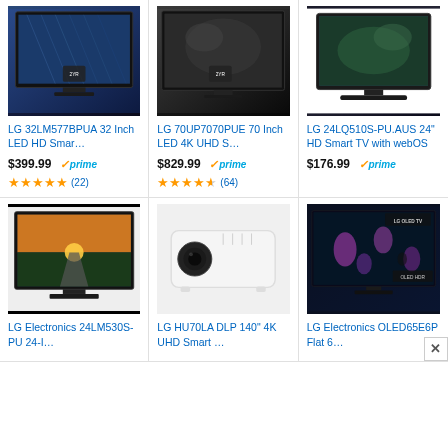[Figure (photo): LG 32LM577BPUA TV product image - flat LED TV with blue crystal pattern on screen]
LG 32LM577BPUA 32 Inch LED HD Smar…
$399.99 ✓prime
★★★★★ (22)
[Figure (photo): LG 70UP7070PUE 70 Inch LED 4K UHD TV product image - flat LED TV with aerial/satellite photo on screen]
LG 70UP7070PUE 70 Inch LED 4K UHD S…
$829.99 ✓prime
★★★★½ (64)
[Figure (photo): LG 24LQ510S-PU.AUS 24 inch HD Smart TV with webOS - small monitor-style TV]
LG 24LQ510S-PU.AUS 24" HD Smart TV with webOS
$176.99 ✓prime
[Figure (photo): LG Electronics 24LM530S-PU 24-inch TV - flat screen with sunset/road scene on screen]
LG Electronics 24LM530S-PU 24-I…
[Figure (photo): LG HU70LA DLP 140 inch 4K UHD Smart projector - white box projector]
LG HU70LA DLP 140" 4K UHD Smart …
[Figure (photo): LG Electronics OLED65E6P Flat 65 inch OLED TV - with underwater/jellyfish scene on screen]
LG Electronics OLED65E6P Flat 6…